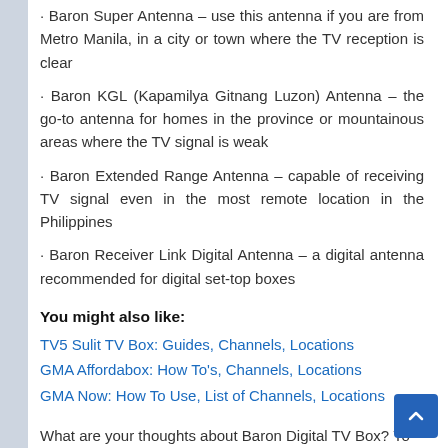• Baron Super Antenna – use this antenna if you are from Metro Manila, in a city or town where the TV reception is clear
• Baron KGL (Kapamilya Gitnang Luzon) Antenna – the go-to antenna for homes in the province or mountainous areas where the TV signal is weak
• Baron Extended Range Antenna – capable of receiving TV signal even in the most remote location in the Philippines
• Baron Receiver Link Digital Antenna – a digital antenna recommended for digital set-top boxes
You might also like:
TV5 Sulit TV Box: Guides, Channels, Locations
GMA Affordabox: How To's, Channels, Locations
GMA Now: How To Use, List of Channels, Locations
What are your thoughts about Baron Digital TV Box? Yo...